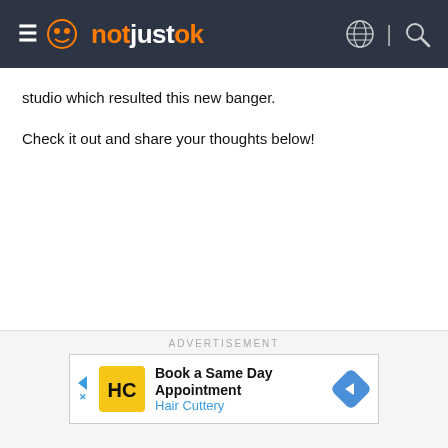notjustok
studio which resulted this new banger.
Check it out and share your thoughts below!
ADVERTISEMENT
[Figure (screenshot): Hair Cuttery advertisement banner: 'Book a Same Day Appointment' with HC logo and blue arrow navigation icon]